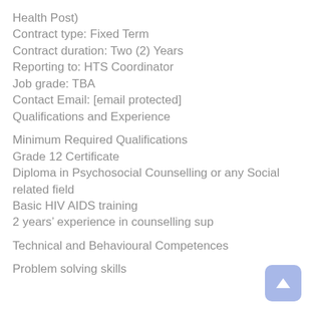Health Post)
Contract type: Fixed Term
Contract duration: Two (2) Years
Reporting to: HTS Coordinator
Job grade: TBA
Contact Email: [email protected]
Qualifications and Experience
Minimum Required Qualifications
Grade 12 Certificate
Diploma in Psychosocial Counselling or any Social related field
Basic HIV AIDS training
2 years’ experience in counselling sup
Technical and Behavioural Competences
Problem solving skills